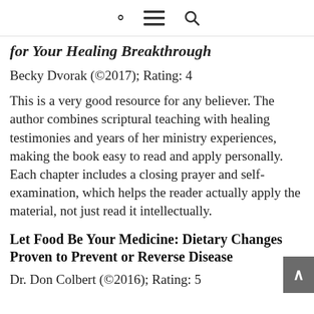🔍 ≡
for Your Healing Breakthrough
Becky Dvorak (©2017); Rating: 4
This is a very good resource for any believer. The author combines scriptural teaching with healing testimonies and years of her ministry experiences, making the book easy to read and apply personally. Each chapter includes a closing prayer and self-examination, which helps the reader actually apply the material, not just read it intellectually.
Let Food Be Your Medicine: Dietary Changes Proven to Prevent or Reverse Disease
Dr. Don Colbert (©2016); Rating: 5